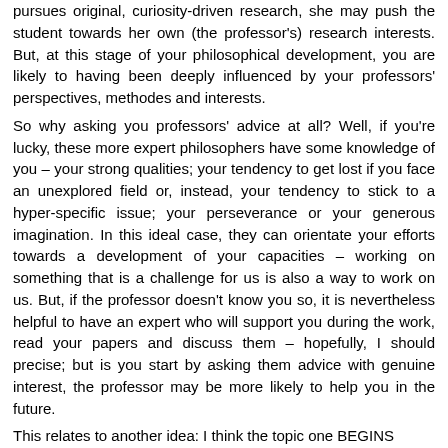pursues original, curiosity-driven research, she may push the student towards her own (the professor's) research interests. But, at this stage of your philosophical development, you are likely to having been deeply influenced by your professors' perspectives, methodes and interests.
So why asking you professors' advice at all? Well, if you're lucky, these more expert philosophers have some knowledge of you – your strong qualities; your tendency to get lost if you face an unexplored field or, instead, your tendency to stick to a hyper-specific issue; your perseverance or your generous imagination. In this ideal case, they can orientate your efforts towards a development of your capacities – working on something that is a challenge for us is also a way to work on us. But, if the professor doesn't know you so, it is nevertheless helpful to have an expert who will support you during the work, read your papers and discuss them – hopefully, I should precise; but is you start by asking them advice with genuine interest, the professor may be more likely to help you in the future.
This relates to another idea: I think the topic one BEGINS